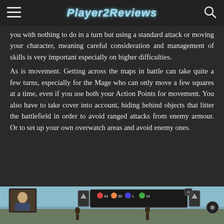Player2Reviews
you with nothing to do in a turn but using a standard attack or moving your character, meaning careful consideration and management of skills is very important especially on higher difficulties. As is movement. Getting across the maps in battle can take quite a few turns, especially for the Mage who can only move a few squares at a time, even if you use both your Action Points for movement. You also have to take cover into account, hiding behind objects that litter the battlefield in order to avoid ranged attacks from enemy armour. Or to set up your own overwatch areas and avoid enemy ones.
[Figure (screenshot): Game screenshot showing a battlefield scene with character portraits, HUD elements including health/action point indicators, and battlefield terrain with figures]